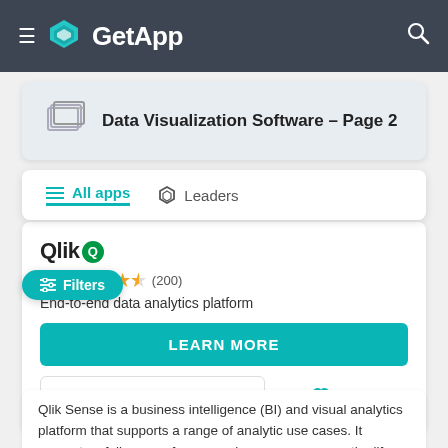GetApp
Data Visualization Software – Page 2
All apps   Leaders
4.4 (200)
End-to-end data analytics platform
LEARN MORE
Compare   Save
Qlik Sense is a business intelligence (BI) and visual analytics platform that supports a range of analytic use cases. It supports a full range of users and use-cases across the life-